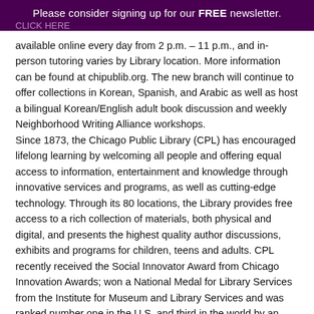Please consider signing up for our FREE newsletter.
available online every day from 2 p.m. – 11 p.m., and in-person tutoring varies by Library location. More information can be found at chipublib.org. The new branch will continue to offer collections in Korean, Spanish, and Arabic as well as host a bilingual Korean/English adult book discussion and weekly Neighborhood Writing Alliance workshops. Since 1873, the Chicago Public Library (CPL) has encouraged lifelong learning by welcoming all people and offering equal access to information, entertainment and knowledge through innovative services and programs, as well as cutting-edge technology. Through its 80 locations, the Library provides free access to a rich collection of materials, both physical and digital, and presents the highest quality author discussions, exhibits and programs for children, teens and adults. CPL recently received the Social Innovator Award from Chicago Innovation Awards; won a National Medal for Library Services from the Institute for Museum and Library Services and was ranked number one in the U.S. and third in the world by an international study of major urban libraries conducted by the Heinrich Heine University Dusseldorf in Germany. For more information, visit chipublib.org or call the Chicago Public Library at